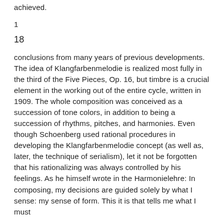achieved.
1
18
conclusions from many years of previous developments. The idea of Klangfarbenmelodie is realized most fully in the third of the Five Pieces, Op. 16, but timbre is a crucial element in the working out of the entire cycle, written in 1909. The whole composition was conceived as a succession of tone colors, in addition to being a succession of rhythms, pitches, and harmonies. Even though Schoenberg used rational procedures in developing the Klangfarbenmelodie concept (as well as, later, the technique of serialism), let it not be forgotten that his rationalizing was always controlled by his feelings. As he himself wrote in the Harmonielehre: In composing, my decisions are guided solely by what I sense: my sense of form. This it is that tells me what I must